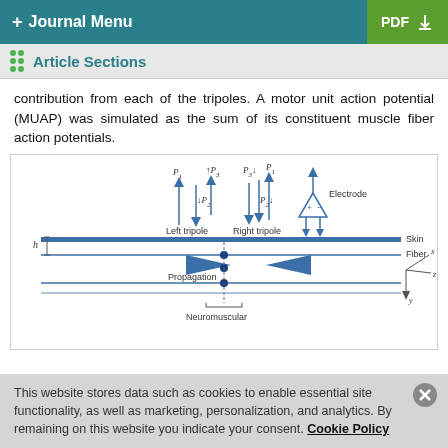+ Journal Menu | PDF
Article Sections
contribution from each of the tripoles. A motor unit action potential (MUAP) was simulated as the sum of its constituent muscle fiber action potentials.
[Figure (engineering-diagram): Diagram showing left and right tripoles (P1, P2, P3) above a skin/fiber layer, with an electrode, propagation arrows, neuromuscular junction, and x/y/z coordinate axes.]
This website stores data such as cookies to enable essential site functionality, as well as marketing, personalization, and analytics. By remaining on this website you indicate your consent. Cookie Policy